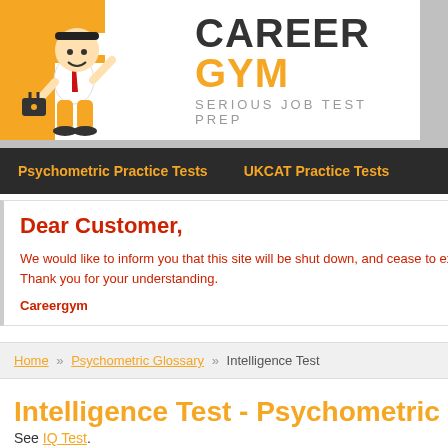[Figure (logo): Career Gym logo with cartoon character running up stairs, brand name CAREER GYM and tagline SERIOUS JOB TEST PREP]
Psychometric Practice Tests   UKCAT Practice Tests
Dear Customer,

We would like to inform you that this site will be shut down, and cease to exist. Thank you for your understanding.

Careergym
Home » Psychometric Glossary » Intelligence Test
Intelligence Test - Psychometric Glossary
See IQ Test.